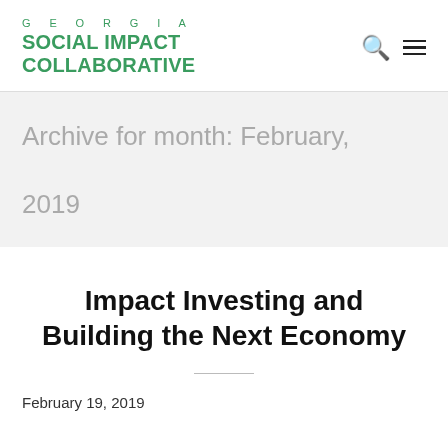GEORGIA SOCIAL IMPACT COLLABORATIVE
Archive for month: February, 2019
Impact Investing and Building the Next Economy
February 19, 2019